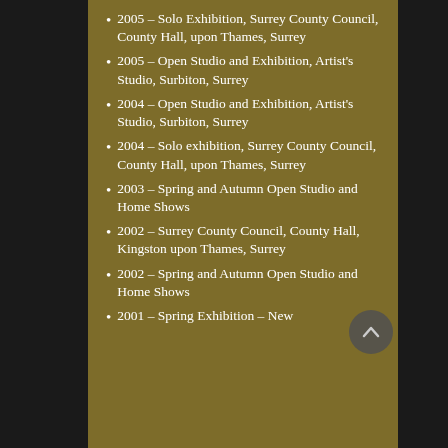2005 – Solo Exhibition, Surrey County Council, County Hall, upon Thames, Surrey
2005 – Open Studio and Exhibition, Artist's Studio, Surbiton, Surrey
2004 – Open Studio and Exhibition, Artist's Studio, Surbiton, Surrey
2004 – Solo exhibition, Surrey County Council, County Hall, upon Thames, Surrey
2003 – Spring and Autumn Open Studio and Home Shows
2002 – Surrey County Council, County Hall, Kingston upon Thames, Surrey
2002 – Spring and Autumn Open Studio and Home Shows
2001 – Spring Exhibition – New